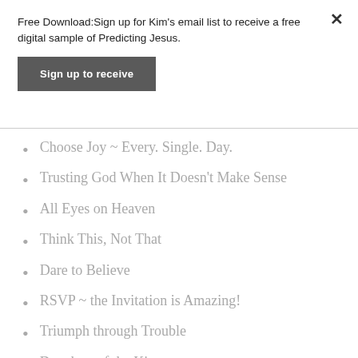Free Download:Sign up for Kim's email list to receive a free digital sample of Predicting Jesus.
Sign up to receive
Choose Joy ~ Every. Single. Day.
Trusting God When It Doesn't Make Sense
All Eyes on Heaven
Think This, Not That
Dare to Believe
RSVP ~ the Invitation is Amazing!
Triumph through Trouble
Daughter of the King